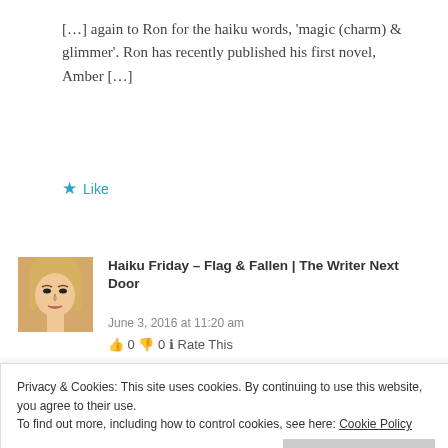[…] again to Ron for the haiku words, 'magic (charm) & glimmer'.  Ron has recently published his first novel, Amber […]
Like
[Figure (photo): Avatar photo of a young woman with blonde hair]
Haiku Friday – Flag & Fallen | The Writer Next Door
June 3, 2016 at 11:20 am
👍 0 👎 0 ℹ Rate This
Privacy & Cookies: This site uses cookies. By continuing to use this website, you agree to their use.
To find out more, including how to control cookies, see here: Cookie Policy
Close and accept
Challenge Guidelines for more […]